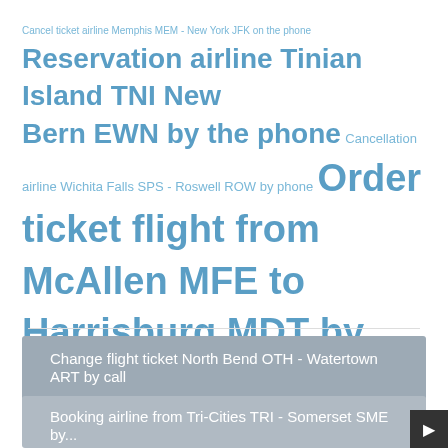Cancel ticket airline Memphis MEM - New York JFK on the phone Reservation airline Tinian Island TNI New Bern EWN by the phone Cancellation airline Wichita Falls SPS - Roswell ROW by phone Order ticket flight from McAllen MFE to Harrisburg MDT by the phone Order airline from Albany ALB to Mammoth Lakes MMH over call Reservation flight ticket from Casper CPR Tallahassee TLH over call Booking airline ticket from Mesa IWA - Hobbs HOB on the call
Change flight ticket North Bend OTH - Watertown ART by call
Booking airline from Tri-Cities TRI - Somerset SME by...